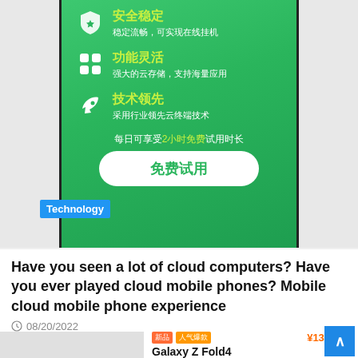[Figure (screenshot): Mobile app screenshot showing cloud phone features on a green gradient background: 安全稳定 (Security Stable) with shield icon, 功能灵活 (Flexible Functions) with grid icon, 技术领先 (Technology Leading) with rocket icon, daily 2-hour free trial text, and a free trial button.]
Technology
Have you seen a lot of cloud computers? Have you ever played cloud mobile phones? Mobile cloud mobile phone experience
08/20/2022
[Figure (photo): Product image placeholder for Samsung Galaxy Z Fold4]
Galaxy Z Fold4
¥13,999.0